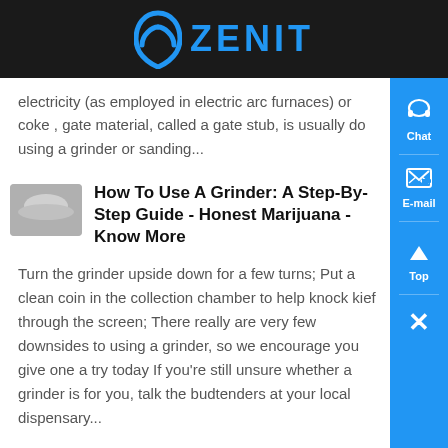ZENIT
electricity (as employed in electric arc furnaces) or coke , gate material, called a gate stub, is usually do using a grinder or sanding...
How To Use A Grinder: A Step-By-Step Guide - Honest Marijuana - Know More
Turn the grinder upside down for a few turns; Put a clean coin in the collection chamber to help knock kief through the screen; There really are very few downsides to using a grinder, so we encourage you give one a try today If you're still unsure whether a grinder is for you, talk the budtenders at your local dispensary...